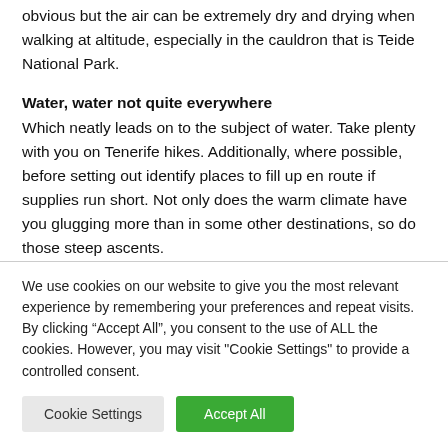obvious but the air can be extremely dry and drying when walking at altitude, especially in the cauldron that is Teide National Park.
Water, water not quite everywhere
Which neatly leads on to the subject of water. Take plenty with you on Tenerife hikes. Additionally, where possible, before setting out identify places to fill up en route if supplies run short. Not only does the warm climate have you glugging more than in some other destinations, so do those steep ascents.
We use cookies on our website to give you the most relevant experience by remembering your preferences and repeat visits. By clicking “Accept All”, you consent to the use of ALL the cookies. However, you may visit "Cookie Settings" to provide a controlled consent.